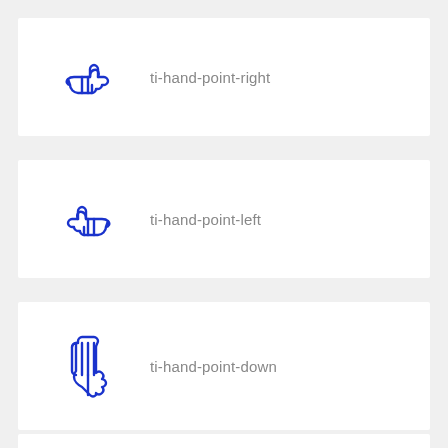[Figure (illustration): Blue hand pointing right icon (ti-hand-point-right)]
ti-hand-point-right
[Figure (illustration): Blue hand pointing left icon (ti-hand-point-left)]
ti-hand-point-left
[Figure (illustration): Blue hand pointing down icon (ti-hand-point-down)]
ti-hand-point-down